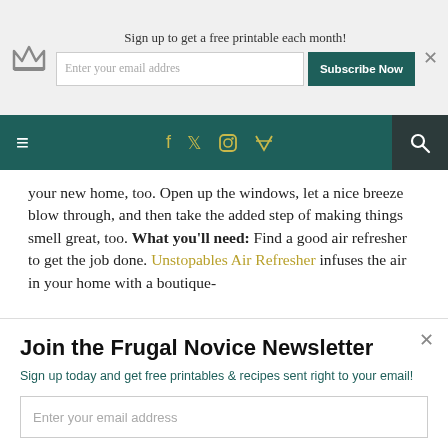Sign up to get a free printable each month! [email input] Subscribe Now
Navigation bar with hamburger menu, social icons (f, twitter, instagram, rss), and search
your new home, too. Open up the windows, let a nice breeze blow through, and then take the added step of making things smell great, too. What you'll need: Find a good air refresher to get the job done. Unstopables Air Refresher infuses the air in your home with a boutique-
Join the Frugal Novice Newsletter
Sign up today and get free printables & recipes sent right to your email!
Enter your email address
Subscribe Now